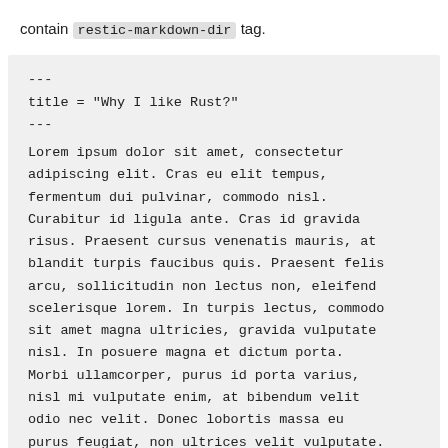contain restic-markdown-dir tag.
---
title = "Why I like Rust?"
---
Lorem ipsum dolor sit amet, consectetur adipiscing elit. Cras eu elit tempus, fermentum dui pulvinar, commodo nisl. Curabitur id ligula ante. Cras id gravida risus. Praesent cursus venenatis mauris, at blandit turpis faucibus quis. Praesent felis arcu, sollicitudin non lectus non, eleifend scelerisque lorem. In turpis lectus, commodo sit amet magna ultricies, gravida vulputate nisl. In posuere magna et dictum porta. Morbi ullamcorper, purus id porta varius, nisl mi vulputate enim, at bibendum velit odio nec velit. Donec lobortis massa eu purus feugiat, non ultrices velit vulputate. Proin commodo in ligula non faucibus. Duis euismod posuere nulla, vel condimentum eros